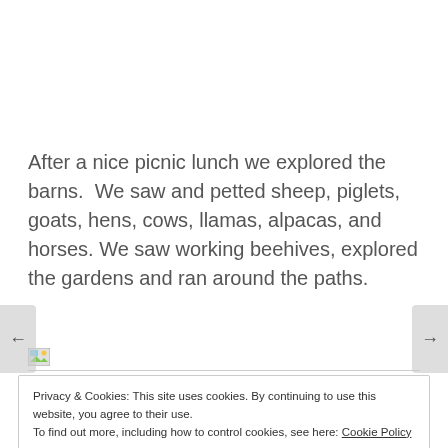After a nice picnic lunch we explored the barns.  We saw and petted sheep, piglets, goats, hens, cows, llamas, alpacas, and horses. We saw working beehives, explored the gardens and ran around the paths.
[Figure (photo): Broken image icon placeholder with a small landscape thumbnail icon]
Privacy & Cookies: This site uses cookies. By continuing to use this website, you agree to their use.
To find out more, including how to control cookies, see here: Cookie Policy
Close and accept